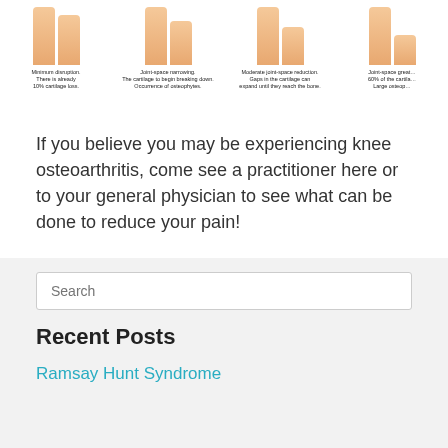[Figure (illustration): Four knee joint illustrations showing progressive stages of osteoarthritis, each with a caption describing the severity of cartilage loss and joint-space changes.]
If you believe you may be experiencing knee osteoarthritis, come see a practitioner here or to your general physician to see what can be done to reduce your pain!
Chiropractic Health
Recent Posts
Ramsay Hunt Syndrome